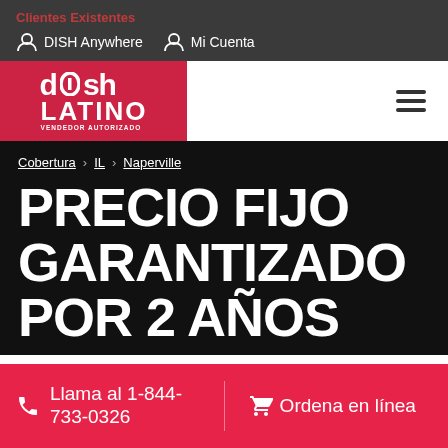Clientes Existentes
DISH Anywhere   Mi Cuenta
[Figure (logo): DishLatino vendedor autorizado logo, red background, white text]
Cobertura › IL › Naperville
PRECIO FIJO GARANTIZADO POR 2 AÑOS
Llama al 1-844-733-0326   Ordena en línea